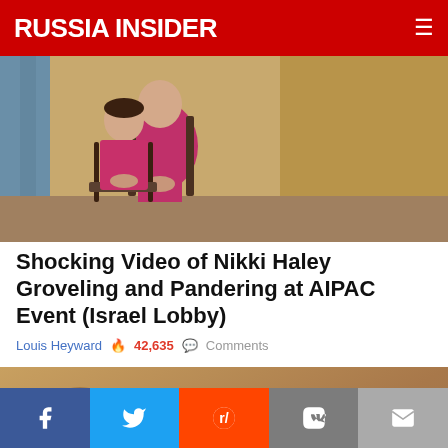RUSSIA INSIDER
[Figure (photo): Woman in magenta/pink outfit seated in a chair, with US and Israeli flags visible in the background on a table with a floral arrangement]
Shocking Video of Nikki Haley Groveling and Pandering at AIPAC Event (Israel Lobby)
Louis Heyward  🔥 42,635  💬 Comments
[Figure (photo): Close-up of a soldier wearing military tactical helmet and goggles, in camouflage gear]